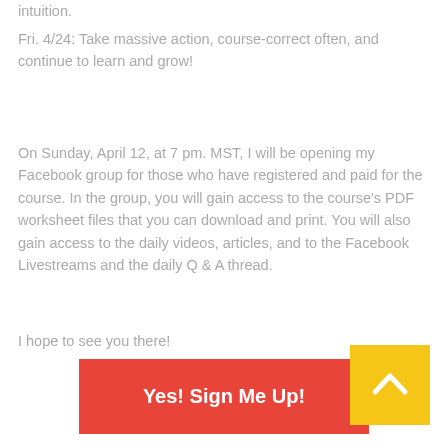intuition.
Fri. 4/24: Take massive action, course-correct often, and continue to learn and grow!
On Sunday, April 12, at 7 pm. MST, I will be opening my Facebook group for those who have registered and paid for the course. In the group, you will gain access to the course's PDF worksheet files that you can download and print. You will also gain access to the daily videos, articles, and to the Facebook Livestreams and the daily Q & A thread.
I hope to see you there!
[Figure (other): Yellow square button with upward chevron/arrow icon]
Yes! Sign Me Up!